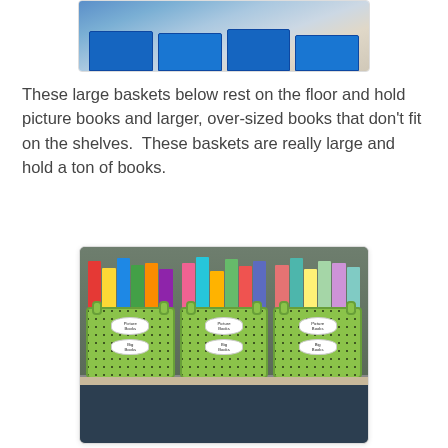[Figure (photo): Top portion of a photo showing blue bins/trays on a shelf with various items inside]
These large baskets below rest on the floor and hold picture books and larger, over-sized books that don't fit on the shelves.  These baskets are really large and hold a ton of books.
[Figure (photo): Three large lime-green baskets sitting on the floor filled with picture books and big books, each basket labeled with 'Picture Books' and 'Big Books' labels]